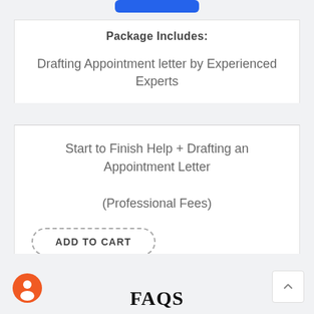Package Includes:
Drafting Appointment letter by Experienced Experts
Start to Finish Help + Drafting an Appointment Letter

(Professional Fees)
FAQS